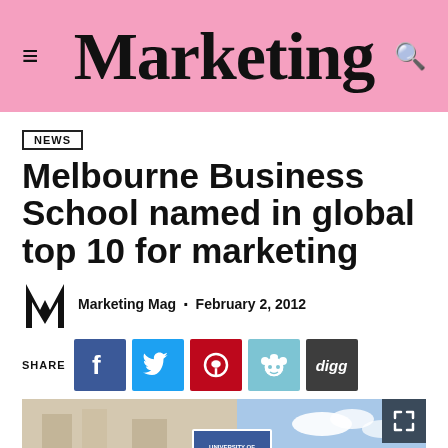Marketing
NEWS
Melbourne Business School named in global top 10 for marketing
Marketing Mag · February 2, 2012
SHARE
[Figure (photo): Exterior photo of Melbourne Business School building with signage visible, blue sky in background]